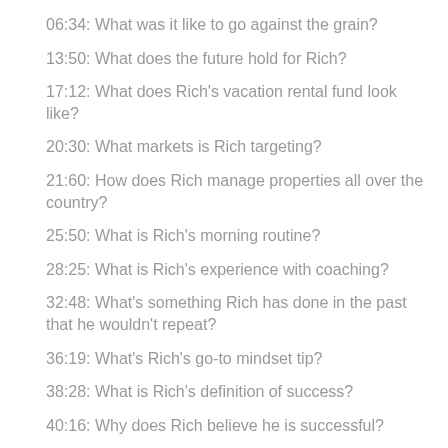06:34: What was it like to go against the grain?
13:50: What does the future hold for Rich?
17:12: What does Rich's vacation rental fund look like?
20:30: What markets is Rich targeting?
21:60: How does Rich manage properties all over the country?
25:50: What is Rich's morning routine?
28:25: What is Rich's experience with coaching?
32:48: What's something Rich has done in the past that he wouldn't repeat?
36:19: What's Rich's go-to mindset tip?
38:28: What is Rich's definition of success?
40:16: Why does Rich believe he is successful?